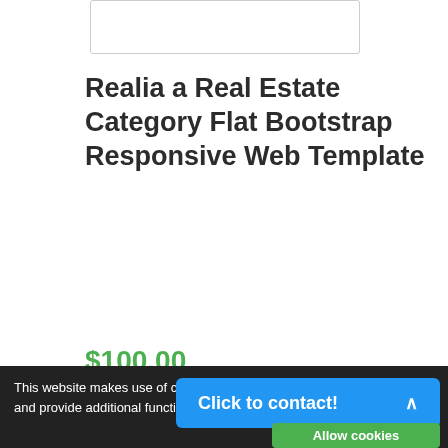[Figure (other): White rectangle placeholder image at top]
Realia a Real Estate Category Flat Bootstrap Responsive Web Template
$100.00
Write a review
[Figure (other): Facebook Like 0 and Share buttons]
This website makes use of cookies to enhance browsing experience and provide additional functio...
Click to contact!
Allow cookies